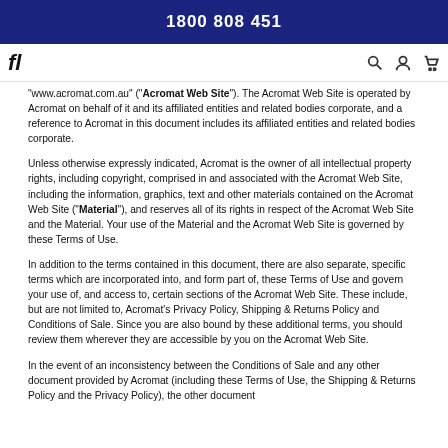1800 808 451
"www.acromat.com.au" ("Acromat Web Site"). The Acromat Web Site is operated by Acromat on behalf of it and its affiliated entities and related bodies corporate, and a reference to Acromat in this document includes its affiliated entities and related bodies corporate.
Unless otherwise expressly indicated, Acromat is the owner of all intellectual property rights, including copyright, comprised in and associated with the Acromat Web Site, including the information, graphics, text and other materials contained on the Acromat Web Site ("Material"), and reserves all of its rights in respect of the Acromat Web Site and the Material. Your use of the Material and the Acromat Web Site is governed by these Terms of Use.
In addition to the terms contained in this document, there are also separate, specific terms which are incorporated into, and form part of, these Terms of Use and govern your use of, and access to, certain sections of the Acromat Web Site. These include, but are not limited to, Acromat's Privacy Policy, Shipping & Returns Policy and Conditions of Sale. Since you are also bound by these additional terms, you should review them wherever they are accessible by you on the Acromat Web Site.
In the event of an inconsistency between the Conditions of Sale and any other document provided by Acromat (including these Terms of Use, the Shipping & Returns Policy and the Privacy Policy), the other document will...